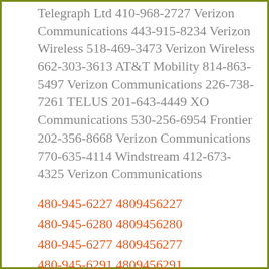Telegraph Ltd 410-968-2727 Verizon Communications 443-915-8234 Verizon Wireless 518-469-3473 Verizon Wireless 662-303-3613 AT&T Mobility 814-863-5497 Verizon Communications 226-738-7261 TELUS 201-643-4449 XO Communications 530-256-6954 Frontier 202-356-8668 Verizon Communications 770-635-4114 Windstream 412-673-4325 Verizon Communications
480-945-6227 4809456227
480-945-6280 4809456280
480-945-6277 4809456277
480-945-6291 4809456291
480-945-6285 4809456285